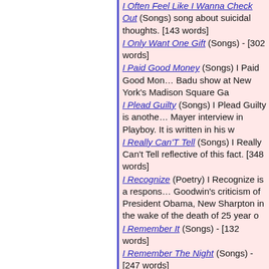I Often Feel Like I Wanna Check Out (Songs) song about suicidal thoughts. [143 words]
I Only Want One Gift (Songs) - [302 words]
I Paid Good Money (Songs) I Paid Good Money Badu show at New York's Madison Square Ga
I Plead Guilty (Songs) I Plead Guilty is another Mayer interview in Playboy. It is written in his w
I Really Can'T Tell (Songs) I Really Can't Tell reflective of this fact. [348 words]
I Recognize (Poetry) I Recognize is a response Goodwin's criticism of President Obama, New Sharpton in the wake of the death of 25 year o
I Remember It (Songs) - [132 words]
I Remember The Night (Songs) - [247 words]
I Remember (I Remember) (Songs) - [123 wo
I See Her (Songs) - [116 words]
I See You'Ve Moved On (Songs) I See You've [240 words]
I Shoulda Known (Songs) I Shouda Known sh
I Shouldn'T Have To... (Songs) I Shouldn't Ha commentary songs. I am open to suggestion n
I Shouldn't Have To Say Her Name (Songs) I inspired by the antics of a former half term go often mentioned as a potential presidential co
I Still Think About You (Songs) - [292 words]
I Suppose (Poetry) - [104 words]
I Suppppos ((I Suppose) (Songs) - [263 words]